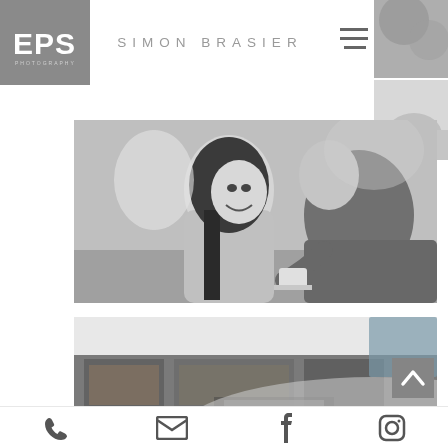[Figure (logo): EPS Photography logo - grey square with white EPS letters and PHOTOGRAPHY text below]
SIMON BRASIER
[Figure (other): Hamburger menu icon - three horizontal lines]
[Figure (photo): Top-right thumbnail: close-up texture photo in greyscale]
[Figure (photo): Mid-right thumbnail: greyscale photo]
[Figure (photo): Main large black and white photo of a couple at a cafe table, woman smiling with long dark hair, man leaning towards her]
[Figure (photo): Bottom black and white photo of a city building with glass facade and reflections, with overlaid decorative circle graphic]
[Figure (other): Scroll to top button with upward chevron arrow]
[Figure (other): Footer icons: phone, email envelope, Facebook, Instagram]